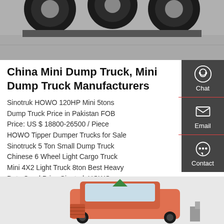[Figure (photo): Top portion of a truck undercarriage with large tires visible against a grey ground surface]
China Mini Dump Truck, Mini Dump Truck Manufacturers
Sinotruk HOWO 120HP Mini 5tons Dump Truck Price in Pakistan FOB Price: US $ 18800-26500 / Piece HOWO Tipper Dumper Trucks for Sale Sinotruck 5 Ton Small Dump Truck Chinese 6 Wheel Light Cargo Truck Mini 4X2 Light Truck 8ton Best Heavy Duty Good Price Sinotruk HOWO Trcuk 4*2 Mini Dumper Dump Truck for Cargo FOB Price: US $ 6600-7500
[Figure (other): Sidebar with Chat, Email, and Contact icons on dark grey background]
GET A QUOTE
[Figure (photo): Bottom partial image showing front cab of a pink/orange large truck]